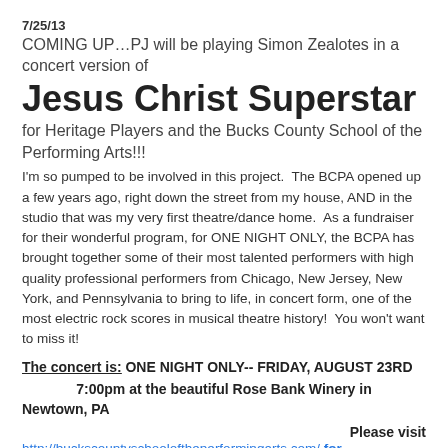7/25/13
COMING UP…PJ will be playing Simon Zealotes in a concert version of
Jesus Christ Superstar
for Heritage Players and the Bucks County School of the Performing Arts!!!
I'm so pumped to be involved in this project.  The BCPA opened up a few years ago, right down the street from my house, AND in the studio that was my very first theatre/dance home.  As a fundraiser for their wonderful program, for ONE NIGHT ONLY, the BCPA has brought together some of their most talented performers with high quality professional performers from Chicago, New Jersey, New York, and Pennsylvania to bring to life, in concert form, one of the most electric rock scores in musical theatre history!  You won't want to miss it!
The concert is: ONE NIGHT ONLY-- FRIDAY, AUGUST 23RD
7:00pm at the beautiful Rose Bank Winery in Newtown, PA
Please visit
http://buckscountyschooloftheperformingarts.com/ for